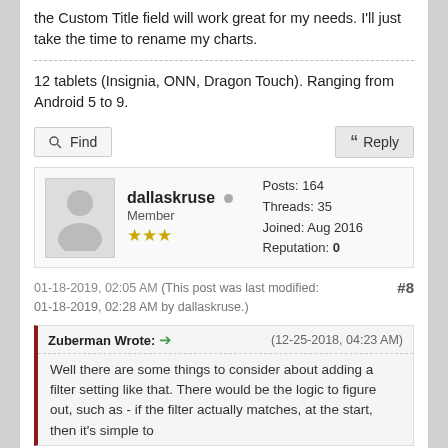the Custom Title field will work great for my needs. I'll just take the time to rename my charts.
12 tablets (Insignia, ONN, Dragon Touch). Ranging from Android 5 to 9.
Find   Reply
dallaskruse  Member  ★★★  Posts: 164  Threads: 35  Joined: Aug 2016  Reputation: 0
01-18-2019, 02:05 AM (This post was last modified: 01-18-2019, 02:28 AM by dallaskruse.)  #8
Zuberman Wrote:  (12-25-2018, 04:23 AM)
Well there are some things to consider about adding a filter setting like that. There would be the logic to figure out, such as - if the filter actually matches, at the start, then it's simple to